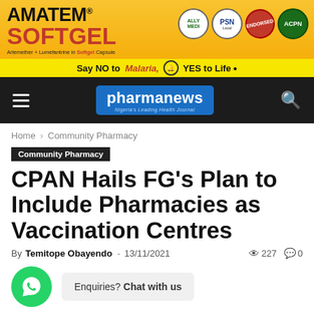[Figure (illustration): Amatem Softgel advertisement banner with yellow background, showing brand logo, certification badges (PSN, Endorsed, ACPN), and tagline 'Say NO to Malaria, YES to Life.']
pharmanews — Nigeria's Leading Health Journal
Home › Community Pharmacy
Community Pharmacy
CPAN Hails FG's Plan to Include Pharmacies as Vaccination Centres
By Temitope Obayendo - 13/11/2021   227   0
Enquiries? Chat with us